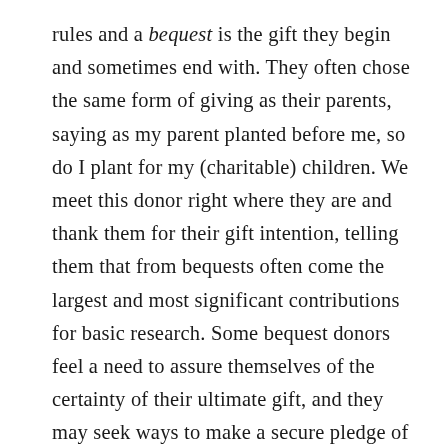rules and a bequest is the gift they begin and sometimes end with. They often chose the same form of giving as their parents, saying as my parent planted before me, so do I plant for my (charitable) children. We meet this donor right where they are and thank them for their gift intention, telling them that from bequests often come the largest and most significant contributions for basic research. Some bequest donors feel a need to assure themselves of the certainty of their ultimate gift, and they may seek ways to make a secure pledge of their gift. Bequest donors are so often the most ardent supporters we have, and some are only too happy to begin making a modest annual gift, to start up a scholarship during their lifetime with spending rate gifts, knowing their gift of greatest significance will come later.